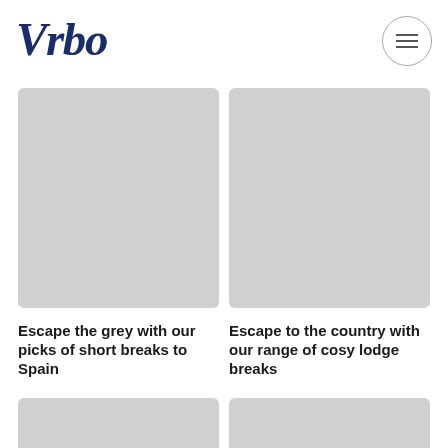[Figure (logo): Vrbo logo in dark blue decorative serif font]
[Figure (other): Hamburger menu button inside a circle]
[Figure (photo): Grey placeholder image for Spain short breaks card]
[Figure (photo): Grey placeholder image for cosy lodge breaks card]
Escape the grey with our picks of short breaks to Spain
Escape to the country with our range of cosy lodge breaks
[Figure (photo): Grey placeholder image bottom left]
[Figure (photo): Grey placeholder image bottom right]